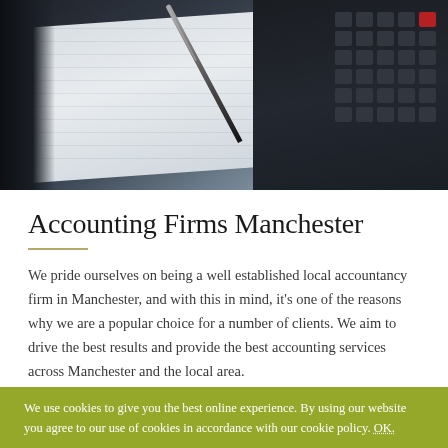[Figure (photo): Close-up photo of a calculator, pen, and financial documents on a dark desk background, showing an accountancy/finance theme.]
Accounting Firms Manchester
We pride ourselves on being a well established local accountancy firm in Manchester, and with this in mind, it’s one of the reasons why we are a popular choice for a number of clients. We aim to drive the best results and provide the best accounting services across Manchester and the local area.
We use cookies to give you the best online experience. By using our website you agree to our use of cookies in accordance with our cookie policy. OK.